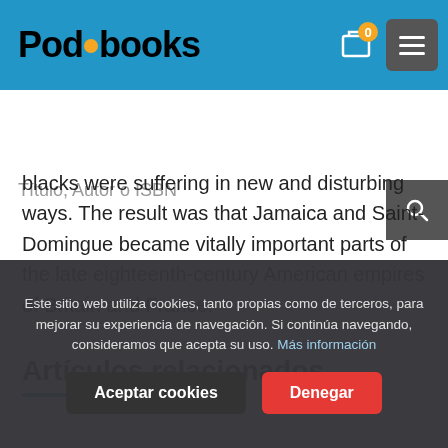Podibooks
Título, Autor o ISBN
blacks were suffering in new and disturbing ways. The result was that Jamaica and Saint-Domingue became vitally important parts of the late eighteenth-century American empires of Britain and France.
Artículos relacionados
Este sitio web utiliza cookies, tanto propias como de terceros, para mejorar su experiencia de navegación. Si continúa navegando, consideramos que acepta su uso. Más información
Aceptar cookies | Denegar